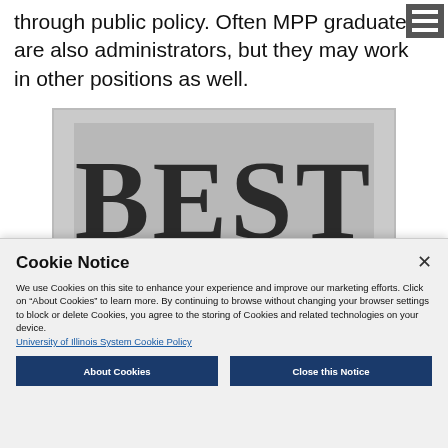through public policy. Often MPP graduates are also administrators, but they may work in other positions as well.
[Figure (screenshot): Large bold text reading 'BEST' on a gray background, resembling a ranking badge image]
Cookie Notice
We use Cookies on this site to enhance your experience and improve our marketing efforts. Click on “About Cookies” to learn more. By continuing to browse without changing your browser settings to block or delete Cookies, you agree to the storing of Cookies and related technologies on your device.
University of Illinois System Cookie Policy
About Cookies
Close this Notice